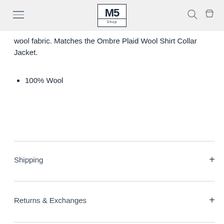M5 Shop
wool fabric. Matches the Ombre Plaid Wool Shirt Collar Jacket.
100% Wool
Shipping
Returns & Exchanges